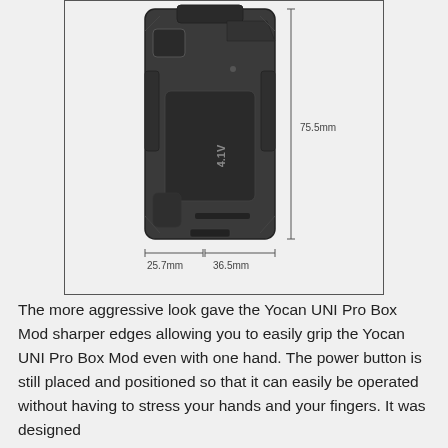[Figure (photo): Yocan UNI Pro Box Mod device shown from the front, dark gray/black color with angular design, buttons and screen visible. Dimension annotations: 75.5mm height, 25.7mm and 36.5mm width measurements shown with bracket lines.]
The more aggressive look gave the Yocan UNI Pro Box Mod sharper edges allowing you to easily grip the Yocan UNI Pro Box Mod even with one hand. The power button is still placed and positioned so that it can easily be operated without having to stress your hands and your fingers. It was designed